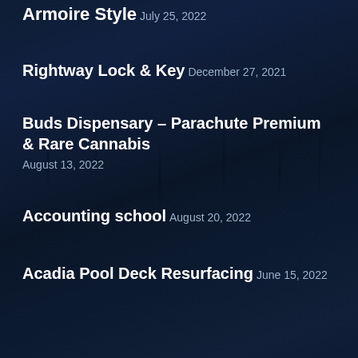Armoire Style
July 25, 2022
Rightway Lock & Key
December 27, 2021
Buds Dispensary – Parachute Premium & Rare Cannabis
August 13, 2022
Accounting school
August 20, 2022
Acadia Pool Deck Resurfacing
June 15, 2022